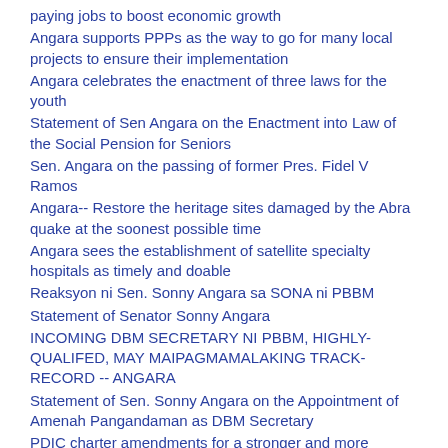paying jobs to boost economic growth
Angara supports PPPs as the way to go for many local projects to ensure their implementation
Angara celebrates the enactment of three laws for the youth
Statement of Sen Angara on the Enactment into Law of the Social Pension for Seniors
Sen. Angara on the passing of former Pres. Fidel V Ramos
Angara-- Restore the heritage sites damaged by the Abra quake at the soonest possible time
Angara sees the establishment of satellite specialty hospitals as timely and doable
Reaksyon ni Sen. Sonny Angara sa SONA ni PBBM
Statement of Senator Sonny Angara
INCOMING DBM SECRETARY NI PBBM, HIGHLY-QUALIFED, MAY MAIPAGMAMALAKING TRACK-RECORD -- ANGARA
Statement of Sen. Sonny Angara on the Appointment of Amenah Pangandaman as DBM Secretary
PDIC charter amendments for a stronger and more resilient banking system—Angara
Kaugnay sa muling paglobo ng COVID cases sa bansa: